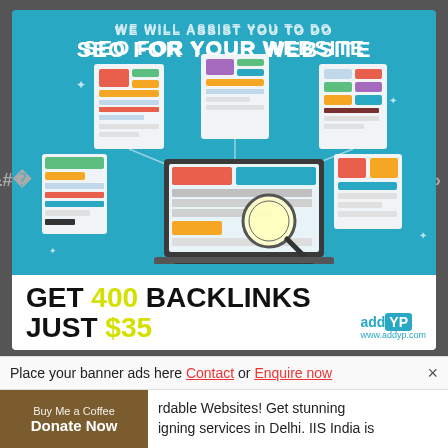[Figure (illustration): SEO advertisement banner with teal/blue background. Shows laptop with magnifying glass and multiple webpage mockups connected via chain links, illustrating SEO and backlink services.]
WE WILL ASSIST YOU TO DO SEO FOR YOUR WEBSITE
GET 400 BACKLINKS JUST $35
addYP www.addyp.com
Place your banner ads here Contact or Enquire now
Buy Me a Coffee Donate Now
rdable Websites! Get stunning igning services in Delhi. IIS India is